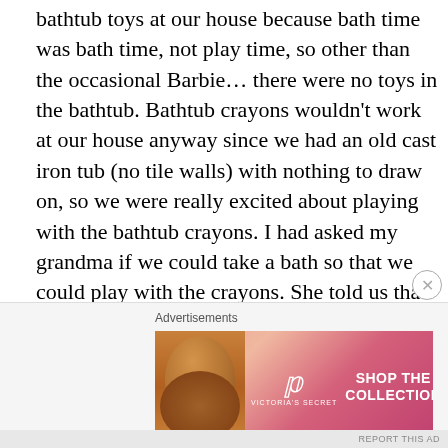bathtub toys at our house because bath time was bath time, not play time, so other than the occasional Barbie… there were no toys in the bathtub. Bathtub crayons wouldn't work at our house anyway since we had an old cast iron tub (no tile walls) with nothing to draw on, so we were really excited about playing with the bathtub crayons. I had asked my grandma if we could take a bath so that we could play with the crayons. She told us that it wasn't bath time yet and we weren't allowed to go inside the tub alone, so we'd have to wait. I was a very obedient child, so I didn't go into the bath tub. Instead I got a big cardboard box and dumped our toys out of it. I then took it to the bathroom and then somehow (I assume with a cup) began
Advertisements
[Figure (photo): Victoria's Secret advertisement banner with a woman's face on the left, the VS logo in the center, 'SHOP THE COLLECTION' text, and a 'SHOP NOW' button on the right, on a pink/red gradient background.]